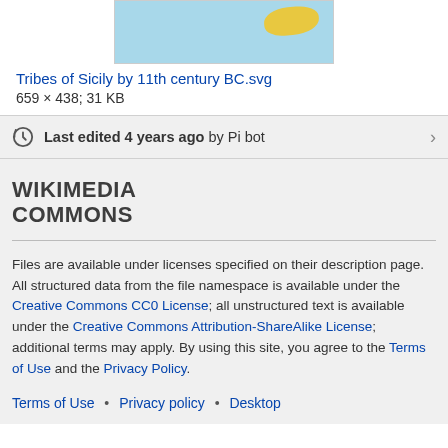[Figure (map): Thumbnail map image showing Tribes of Sicily, cropped portion visible with blue background and yellow island shape]
Tribes of Sicily by 11th century BC.svg
659 × 438; 31 KB
Last edited 4 years ago by Pi bot
WIKIMEDIA COMMONS
Files are available under licenses specified on their description page. All structured data from the file namespace is available under the Creative Commons CC0 License; all unstructured text is available under the Creative Commons Attribution-ShareAlike License; additional terms may apply. By using this site, you agree to the Terms of Use and the Privacy Policy.
Terms of Use • Privacy policy • Desktop